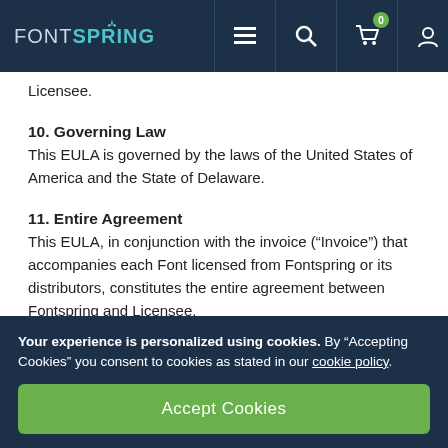FONTSPRING
Licensee.
10. Governing Law
This EULA is governed by the laws of the United States of America and the State of Delaware.
11. Entire Agreement
This EULA, in conjunction with the invoice (“Invoice”) that accompanies each Font licensed from Fontspring or its distributors, constitutes the entire agreement between Fontspring and Licensee.
Your experience is personalized using cookies. By “Accepting Cookies” you consent to cookies as stated in our cookie policy.